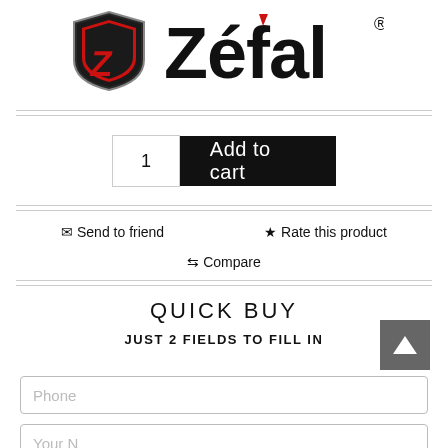[Figure (logo): Zefal brand logo with shield icon containing red Z and Zefal wordmark]
1
Add to cart
✉ Send to friend
★ Rate this product
⇄ Compare
QUICK BUY
JUST 2 FIELDS TO FILL IN
Phone
Your Name